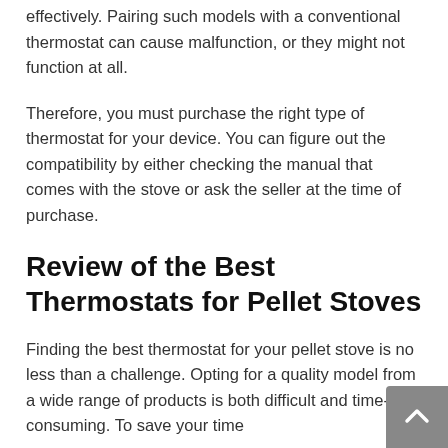effectively. Pairing such models with a conventional thermostat can cause malfunction, or they might not function at all.
Therefore, you must purchase the right type of thermostat for your device. You can figure out the compatibility by either checking the manual that comes with the stove or ask the seller at the time of purchase.
Review of the Best Thermostats for Pellet Stoves
Finding the best thermostat for your pellet stove is no less than a challenge. Opting for a quality model from a wide range of products is both difficult and time-consuming. To save your time